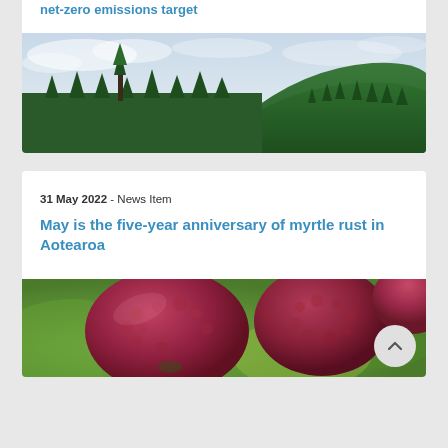net-zero emissions target
[Figure (photo): Wide panoramic photo of a forested hillside with conifer trees under a partly cloudy sky]
31 May 2022 - News Item
May is the five-year anniversary of myrtle rust in Aotearoa
[Figure (photo): Close-up photo of dark red/purple myrtle rust infected plant material with blurred green background]